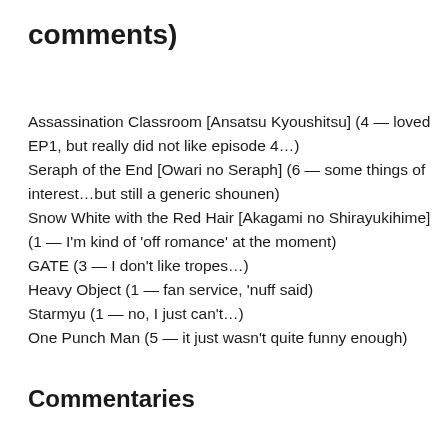comments)
Assassination Classroom [Ansatsu Kyoushitsu] (4 — loved EP1, but really did not like episode 4…)
Seraph of the End [Owari no Seraph] (6 — some things of interest…but still a generic shounen)
Snow White with the Red Hair [Akagami no Shirayukihime] (1 — I'm kind of 'off romance' at the moment)
GATE (3 — I don't like tropes…)
Heavy Object (1 — fan service, 'nuff said)
Starmyu (1 — no, I just can't…)
One Punch Man (5 — it just wasn't quite funny enough)
Commentaries